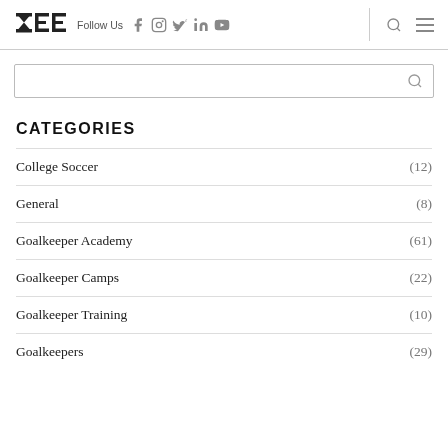ZEE — Follow Us [social icons] [search icon] [menu icon]
CATEGORIES
College Soccer (12)
General (8)
Goalkeeper Academy (61)
Goalkeeper Camps (22)
Goalkeeper Training (10)
Goalkeepers (29)